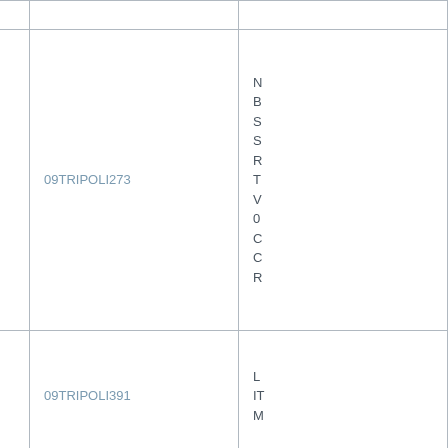|  | 09TRIPOLI273 | N
B
S
S
R
T
V
0
C
C
R |
|  | 09TRIPOLI391 | L
IT
M |
|  | 09TRIPOLI558 | A
C
W
A
G
0
C |